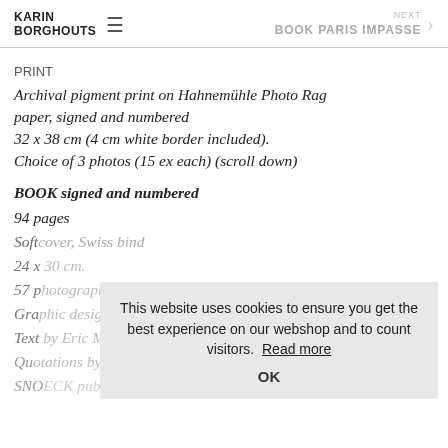KARIN BORGHOUTS   ≡   NEXT BOOK PARIS IMPASSE ›
PRINT
Archival pigment print on Hahnemühle Photo Rag paper, signed and numbered
32 x 38 cm (4 cm white border included).
Choice of 3 photos (15 ex each) (scroll down)
BOOK signed and numbered
94 pages
Softcover, Swiss bind
24 x 30 cm.
57 photographs by Karin Borghouts
Graphic design by Jean-Michel Meyers
Text by Eric Min (NL, FR, ENG)
Quotations by Paul de Moor (NL, FR, ENG)
SNOECK publishers
This website uses cookies to ensure you get the best experience on our webshop and to count visitors. Read more
OK